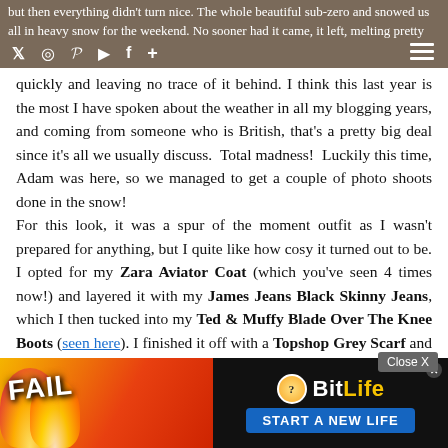but then everything didn't turn nice. The whole beautiful sub-zero and snowed us all in heavy snow for the weekend. No sooner had it came, it left, melting pretty
quickly and leaving no trace of it behind. I think this last year is the most I have spoken about the weather in all my blogging years, and coming from someone who is British, that's a pretty big deal since it's all we usually discuss. Total madness! Luckily this time, Adam was here, so we managed to get a couple of photo shoots done in the snow!
For this look, it was a spur of the moment outfit as I wasn't prepared for anything, but I quite like how cosy it turned out to be. I opted for my Zara Aviator Coat (which you've seen 4 times now!) and layered it with my James Jeans Black Skinny Jeans, which I then tucked into my Ted & Muffy Blade Over The Knee Boots (seen here). I finished it off with a Topshop Grey Scarf and an Urban Outfitters Beanie, topped off with a red lip. I will say that the hat and scarf are new but I purcha... arf was £6.50 a... rything
[Figure (screenshot): Advertisement banner showing BitLife game ad with FAIL text, cartoon character, flames, and 'START A NEW LIFE' button. Close X button visible above.]